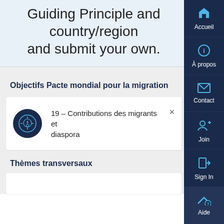Guiding Principle and country/region and submit your own.
Objectifs Pacte mondial pour la migration
19 – Contributions des migrants et diaspora
Thèmes transversaux